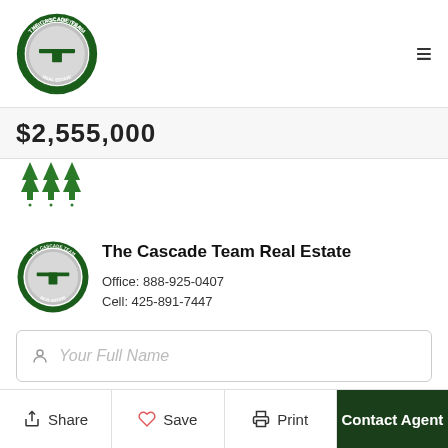[Figure (logo): The Cascade Team Real Estate circular green logo with stylized house/table icon, top navigation bar]
$2,555,000
[Figure (illustration): Three tree/forest icons in dark green]
[Figure (logo): The Cascade Team Real Estate circular green logo, agent card]
The Cascade Team Real Estate
Office: 888-925-0407
Cell: 425-891-7447
Your Full Name
Share
Save
Print
Contact Agent